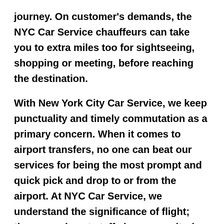journey. On customer's demands, the NYC Car Service chauffeurs can take you to extra miles too for sightseeing, shopping or meeting, before reaching the destination.
With New York City Car Service, we keep punctuality and timely commutation as a primary concern. When it comes to airport transfers, no one can beat our services for being the most prompt and quick pick and drop to or from the airport. At NYC Car Service, we understand the significance of flight; thus, our airport staffs keeps monitoring the flight status and accordingly schedules the door-step pick-up. If you have booked us for NYC Car Service from Arcade, NY, our diligent and knowledgeable chauffeurs make sure to pick the best route possible